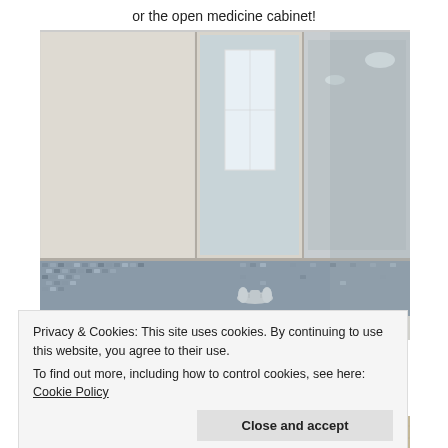or the open medicine cabinet!
[Figure (photo): Bathroom with large white mirrored medicine cabinet open over a mosaic tile backsplash and wall-mounted chrome faucet]
Privacy & Cookies: This site uses cookies. By continuing to use this website, you agree to their use.
To find out more, including how to control cookies, see here: Cookie Policy
[Figure (photo): Partial bottom strip showing a wooden countertop or surface]